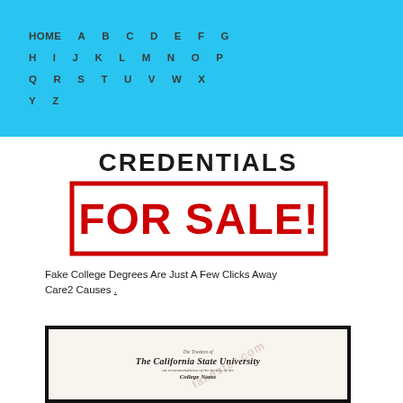HOME A B C D E F G H I J K L M N O P Q R S T U V W X Y Z
[Figure (illustration): Credentials FOR SALE! stamp image - text CREDENTIALS in black bold on white, and FOR SALE! in large red block letters with red border rectangle]
Fake College Degrees Are Just A Few Clicks Away Care2 Causes .
[Figure (photo): California State University diploma certificate with ornate script text: The Trustees of The California State University, on recommendation of the faculty of the, College Name, with watermark overlay]